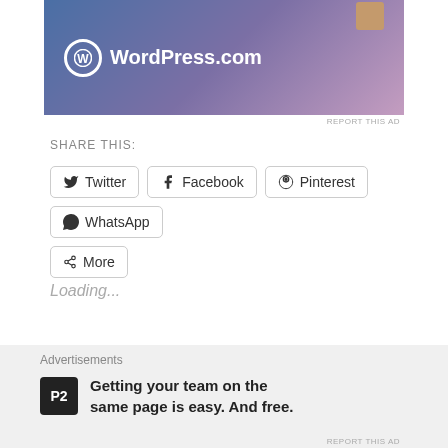[Figure (screenshot): WordPress.com advertisement banner with blue-to-pink gradient background, WordPress logo (W in circle) and text WordPress.com, small gift icon top right]
REPORT THIS AD
SHARE THIS:
Twitter  Facebook  Pinterest  WhatsApp  More  (social share buttons)
Loading...
Review : Knob Creek Rye Straight Whiskey
Jan 22, 2022
Advertisements
[Figure (logo): P2 logo - black square with P2 text in white]
Getting your team on the same page is easy. And free.
REPORT THIS AD